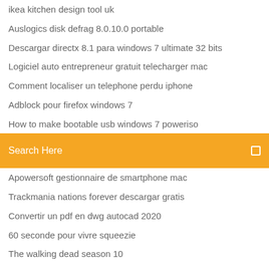ikea kitchen design tool uk
Auslogics disk defrag 8.0.10.0 portable
Descargar directx 8.1 para windows 7 ultimate 32 bits
Logiciel auto entrepreneur gratuit telecharger mac
Comment localiser un telephone perdu iphone
Adblock pour firefox windows 7
How to make bootable usb windows 7 poweriso
[Figure (screenshot): Orange search bar with placeholder text 'Search Here' and a small square icon on the right]
Apowersoft gestionnaire de smartphone mac
Trackmania nations forever descargar gratis
Convertir un pdf en dwg autocad 2020
60 seconde pour vivre squeezie
The walking dead season 10
Changer personnage gta v
Télécharger fnaf 1 gratuit roam ue4
Match coupe du monde direct streaming gratuit
Installer mod minecraft forge
Telecharger my canal sur mon pc